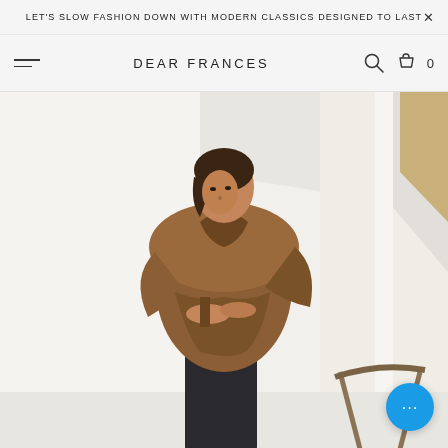LET'S SLOW FASHION DOWN WITH MODERN CLASSICS DESIGNED TO LAST
DEAR FRANCES
[Figure (photo): A woman wearing a camel-brown oversized wool jacket with wide sleeves and dark trousers, standing in a minimalist white room with architectural details and a glimpse of a chair and golden wall in background. A blue chat bubble button overlaid at bottom right.]